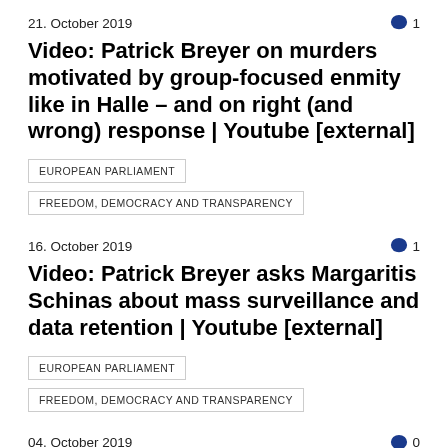21. October 2019
1
Video: Patrick Breyer on murders motivated by group-focused enmity like in Halle – and on right (and wrong) response | Youtube [external]
EUROPEAN PARLIAMENT
FREEDOM, DEMOCRACY AND TRANSPARENCY
16. October 2019
1
Video: Patrick Breyer asks Margaritis Schinas about mass surveillance and data retention | Youtube [external]
EUROPEAN PARLIAMENT
FREEDOM, DEMOCRACY AND TRANSPARENCY
04. October 2019
0